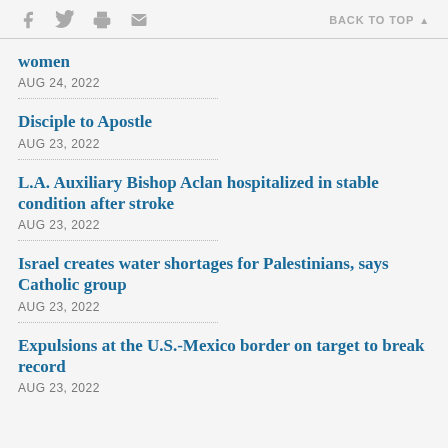f [facebook] [twitter] [print] [email] BACK TO TOP ▲
women
AUG 24, 2022
Disciple to Apostle
AUG 23, 2022
L.A. Auxiliary Bishop Aclan hospitalized in stable condition after stroke
AUG 23, 2022
Israel creates water shortages for Palestinians, says Catholic group
AUG 23, 2022
Expulsions at the U.S.-Mexico border on target to break record
AUG 23, 2022